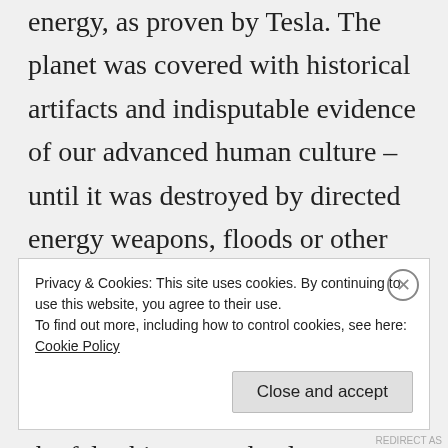energy, as proven by Tesla. The planet was covered with historical artifacts and indisputable evidence of our advanced human culture – until it was destroyed by directed energy weapons, floods or other weather cataclysms that were artificially generated by a nonhuman species invading our planet. Who are we now without the false history and culture we have been brainwashed to accept as our own? What if these intruders are putting into play right now with the Great Reset the same
Privacy & Cookies: This site uses cookies. By continuing to use this website, you agree to their use.
To find out more, including how to control cookies, see here: Cookie Policy
Close and accept
REDIRECT AS